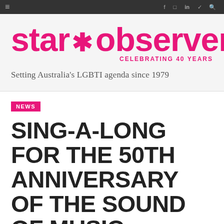Navigation bar with menu and social icons
[Figure (logo): Star Observer logo in pink with star symbol, subtitle CELEBRATING 40 YEARS]
Setting Australia's LGBTI agenda since 1979
NEWS
SING-A-LONG FOR THE 50TH ANNIVERSARY OF THE SOUND OF MUSIC